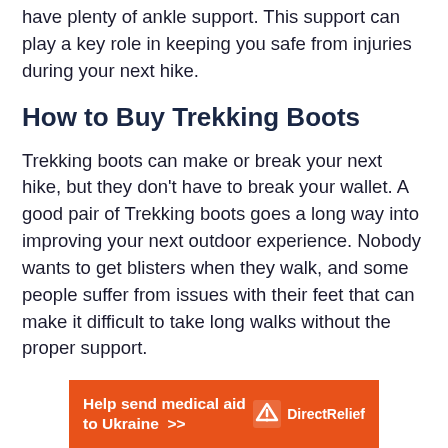have plenty of ankle support. This support can play a key role in keeping you safe from injuries during your next hike.
How to Buy Trekking Boots
Trekking boots can make or break your next hike, but they don’t have to break your wallet. A good pair of Trekking boots goes a long way into improving your next outdoor experience. Nobody wants to get blisters when they walk, and some people suffer from issues with their feet that can make it difficult to take long walks without the proper support.
[Figure (other): DirectRelief advertisement banner: orange background with white bold text 'Help send medical aid to Ukraine >>' and DirectRelief logo on the right]